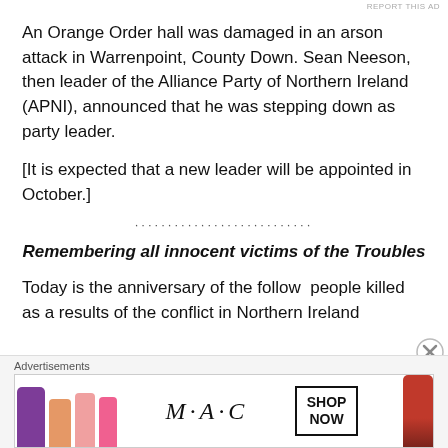REPORT THIS AD
An Orange Order hall was damaged in an arson attack in Warrenpoint, County Down. Sean Neeson, then leader of the Alliance Party of Northern Ireland (APNI), announced that he was stepping down as party leader.
[It is expected that a new leader will be appointed in October.]
...........................
Remembering all innocent victims of the Troubles
Today is the anniversary of the follow  people killed as a results of the conflict in Northern Ireland
Advertisements